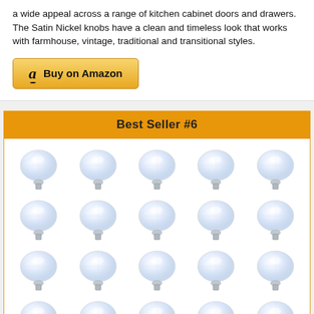a wide appeal across a range of kitchen cabinet doors and drawers. The Satin Nickel knobs have a clean and timeless look that works with farmhouse, vintage, traditional and transitional styles.
[Figure (other): Amazon 'Buy on Amazon' button with orange/yellow gradient background and Amazon logo]
Best Seller #6
[Figure (photo): Grid of 20 crystal diamond-shaped cabinet knobs arranged in 4 rows of 5, clear glass/crystal with silver metal base]